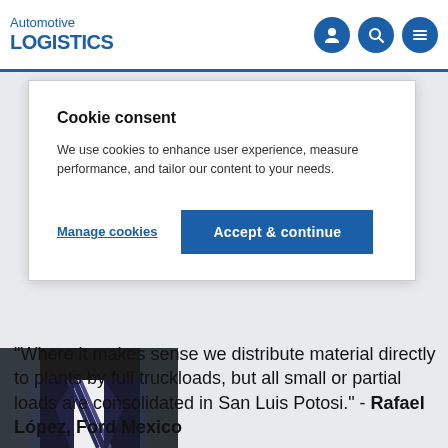Automotive LOGISTICS
Cookie consent
We use cookies to enhance user experience, measure performance, and tailor our content to your needs.
Manage cookies
Accept & continue
[Figure (photo): Partial photo of a man in a dark suit and striped tie]
"Where it makes sense we distribute material directly to plants by full truckloads, but all small or partial loads are consolidated in San Luis Potosi." - Rafael López, Ford Mexico